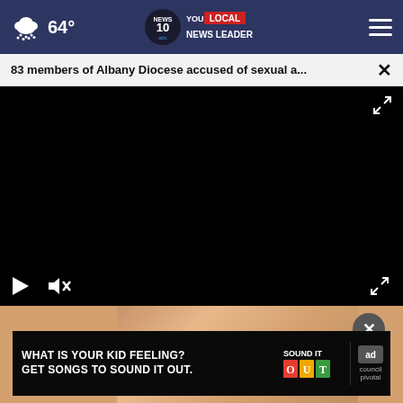64° NEWS 10 YOUR LOCAL NEWS LEADER
83 members of Albany Diocese accused of sexual a...
[Figure (screenshot): Black video player with play and mute controls, fullscreen expand button]
[Figure (photo): Close-up photo of hands, with a close (X) circle button overlay]
[Figure (infographic): Ad banner: WHAT IS YOUR KID FEELING? GET SONGS TO SOUND IT OUT. with Sound It Out and ad council pivotal logos]